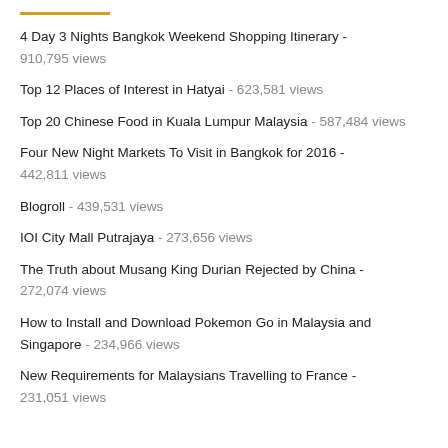4 Day 3 Nights Bangkok Weekend Shopping Itinerary - 910,795 views
Top 12 Places of Interest in Hatyai - 623,581 views
Top 20 Chinese Food in Kuala Lumpur Malaysia - 587,484 views
Four New Night Markets To Visit in Bangkok for 2016 - 442,811 views
Blogroll - 439,531 views
IOI City Mall Putrajaya - 273,656 views
The Truth about Musang King Durian Rejected by China - 272,074 views
How to Install and Download Pokemon Go in Malaysia and Singapore - 234,966 views
New Requirements for Malaysians Travelling to France - 231,051 views